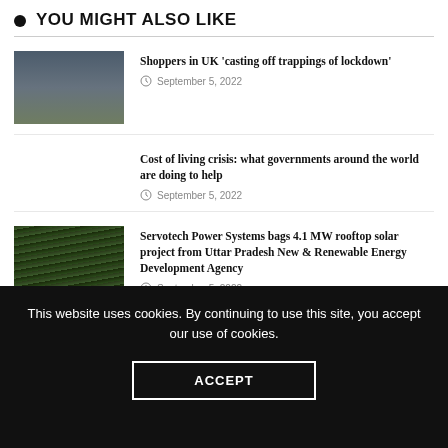YOU MIGHT ALSO LIKE
Shoppers in UK 'casting off trappings of lockdown' — September 5, 2022
Cost of living crisis: what governments around the world are doing to help — September 5, 2022
Servotech Power Systems bags 4.1 MW rooftop solar project from Uttar Pradesh New & Renewable Energy Development Agency — September 5, 2022
This website uses cookies. By continuing to use this site, you accept our use of cookies.
ACCEPT